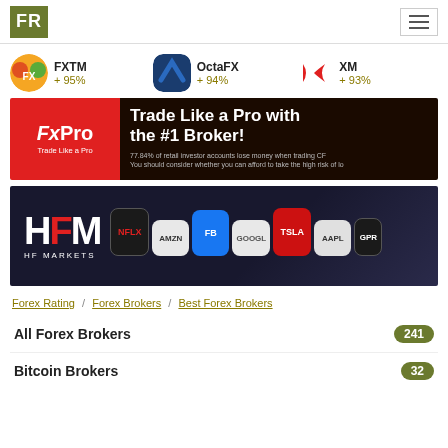FR | hamburger menu
[Figure (infographic): Top forex brokers row: FXTM +95%, OctaFX +94%, XM +93%]
[Figure (infographic): FxPro advertisement banner: Trade Like a Pro with the #1 Broker! 77.84% of retail investor accounts lose money when trading CF. You should consider whether you can afford to take the high risk of lo]
[Figure (infographic): HF Markets (HFM) advertisement banner showing stock tiles: NFLX, AMZN, FB, GOOGL, TSLA, AAPL, GPR]
Forex Rating / Forex Brokers / Best Forex Brokers
All Forex Brokers 241
Bitcoin Brokers 32